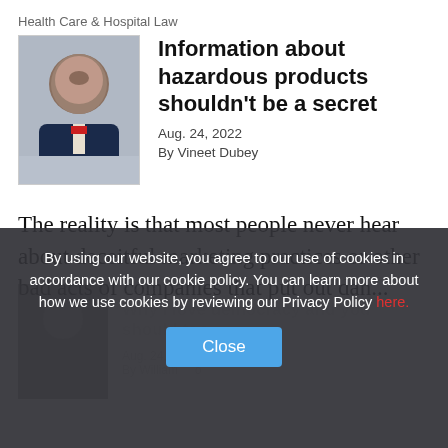Health Care & Hospital Law
Information about hazardous products shouldn't be a secret
Aug. 24, 2022
By Vineet Dubey
[Figure (photo): Headshot of Vineet Dubey, a man in a dark suit with a red tie]
The reality is that most people never hear about deceitful marketing practices or other bad acts of companies that put out dan...
By using our website, you agree to our use of cookies in accordance with our cookie policy. You can learn more about how we use cookies by reviewing our Privacy Policy here.
Close